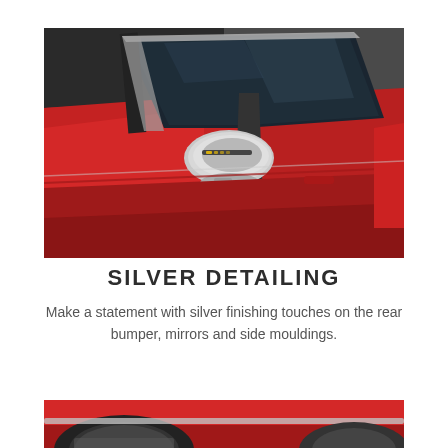[Figure (photo): Close-up photo of a red car showing the silver-detailed side mirror, window trim, and door panel. The mirror is chrome/silver colored with indicator lights. Background shows dark garage environment.]
SILVER DETAILING
Make a statement with silver finishing touches on the rear bumper, mirrors and side mouldings.
[Figure (photo): Partial bottom photo of a red car showing the lower body, wheel arch and tire area with silver detailing on the side moulding.]